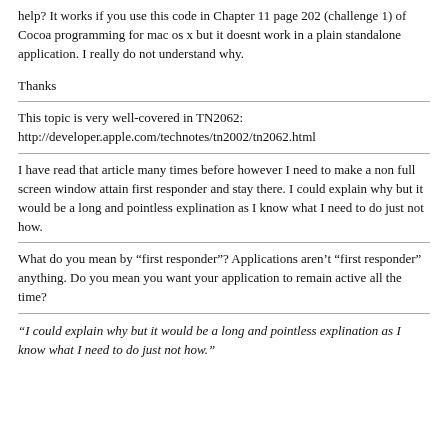help? It works if you use this code in Chapter 11 page 202 (challenge 1) of Cocoa programming for mac os x but it doesnt work in a plain standalone application. I really do not understand why.
Thanks
This topic is very well-covered in TN2062: http://developer.apple.com/technotes/tn2002/tn2062.html
I have read that article many times before however I need to make a non full screen window attain first responder and stay there. I could explain why but it would be a long and pointless explination as I know what I need to do just not how.
What do you mean by “first responder”? Applications aren’t “first responder” anything. Do you mean you want your application to remain active all the time?
“I could explain why but it would be a long and pointless explination as I know what I need to do just not how.”